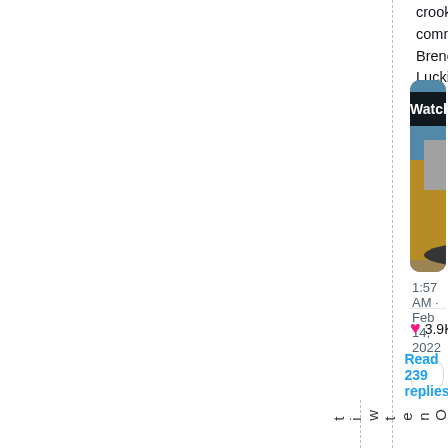crooked commissioner Brenda Lucki?
[Figure (screenshot): Video thumbnail showing yellow excavator with overlaid text 'POLICE SABOTAGE EXCAVATOR' and a play button circle, with 'Watch on Twitter' overlay label]
1:57 AM · Feb 14, 2022
❤ 3.9K  💬 Reply  🔗 C
Read 239 replies
O
n
e
t
w
i
t